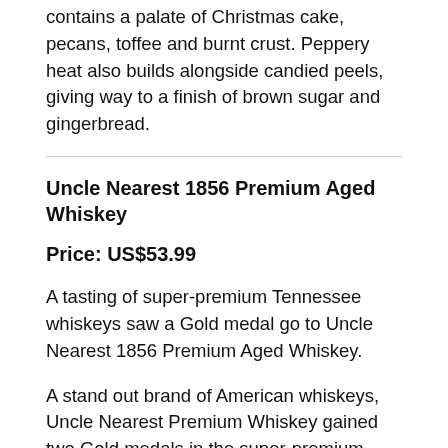contains a palate of Christmas cake, pecans, toffee and burnt crust. Peppery heat also builds alongside candied peels, giving way to a finish of brown sugar and gingerbread.
Uncle Nearest 1856 Premium Aged Whiskey
Price: US$53.99
A tasting of super-premium Tennessee whiskeys saw a Gold medal go to Uncle Nearest 1856 Premium Aged Whiskey.
A stand out brand of American whiskeys, Uncle Nearest Premium Whiskey gained two Gold medals in the super-premium heat and two Golds in the ultra-premium round. Uncle Nearest 1856